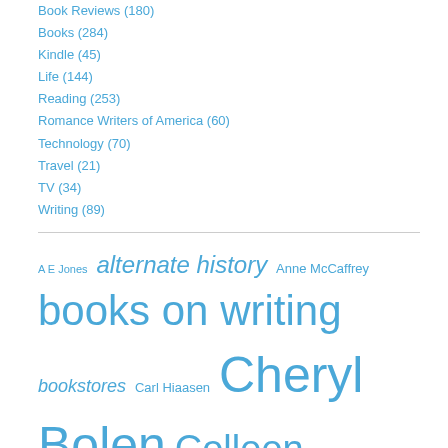Book Reviews (180)
Books (284)
Kindle (45)
Life (144)
Reading (253)
Romance Writers of America (60)
Technology (70)
Travel (21)
TV (34)
Writing (89)
[Figure (other): Tag cloud with author names and topics in varying font sizes: A E Jones, alternate history, Anne McCaffrey, books on writing, bookstores, Carl Hiaasen, Cheryl Bolen, Colleen Thompson, computers, Darynda Jones, Deeanne Gist, Diane Kelly, Elaine Viets, Firebirds, Gerry Bartlett, Golden Heart, RWA, Holley Wheaton (partial)]